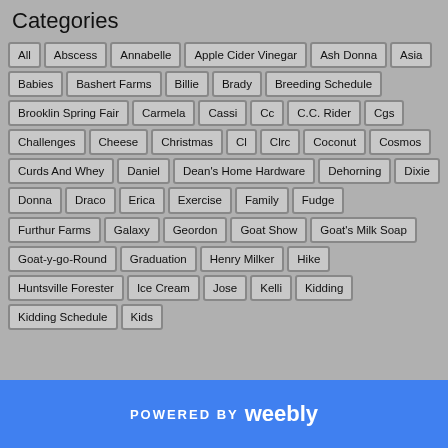Categories
All
Abscess
Annabelle
Apple Cider Vinegar
Ash Donna
Asia
Babies
Bashert Farms
Billie
Brady
Breeding Schedule
Brooklin Spring Fair
Carmela
Cassi
Cc
C.C. Rider
Cgs
Challenges
Cheese
Christmas
Cl
Clrc
Coconut
Cosmos
Curds And Whey
Daniel
Dean's Home Hardware
Dehorning
Dixie
Donna
Draco
Erica
Exercise
Family
Fudge
Furthur Farms
Galaxy
Geordon
Goat Show
Goat's Milk Soap
Goat-y-go-Round
Graduation
Henry Milker
Hike
Huntsville Forester
Ice Cream
Jose
Kelli
Kidding
Kidding Schedule
Kids
POWERED BY weebly